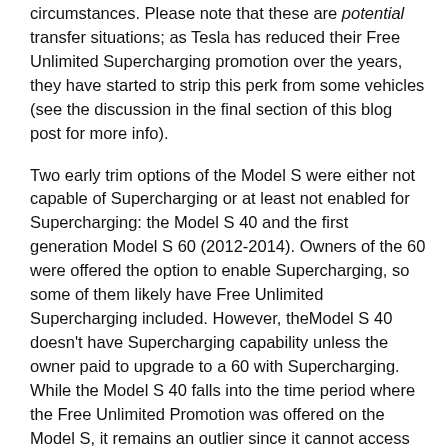circumstances. Please note that these are potential transfer situations; as Tesla has reduced their Free Unlimited Supercharging promotion over the years, they have started to strip this perk from some vehicles (see the discussion in the final section of this blog post for more info).
Two early trim options of the Model S were either not capable of Supercharging or at least not enabled for Supercharging: the Model S 40 and the first generation Model S 60 (2012-2014). Owners of the 60 were offered the option to enable Supercharging, so some of them likely have Free Unlimited Supercharging included. However, theModel S 40 doesn't have Supercharging capability unless the owner paid to upgrade to a 60 with Supercharging. While the Model S 40 falls into the time period where the Free Unlimited Promotion was offered on the Model S, it remains an outlier since it cannot access Tesla's Supercharger Network anyway.
Here's a chart to help you get a visual on which years Tesla Free Unlimited Supercharging transfers for the